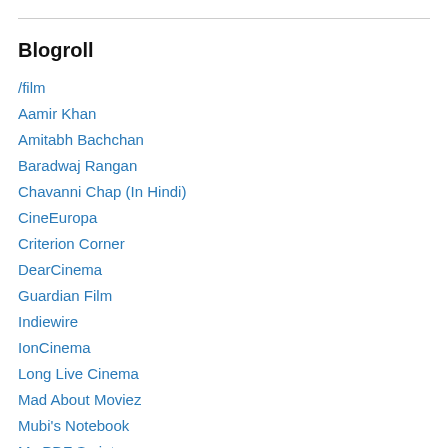Blogroll
/film
Aamir Khan
Amitabh Bachchan
Baradwaj Rangan
Chavanni Chap (In Hindi)
CineEuropa
Criterion Corner
DearCinema
Guardian Film
Indiewire
IonCinema
Long Live Cinema
Mad About Moviez
Mubi's Notebook
My PDF Scripts
Mystery man on film
Naachgaana